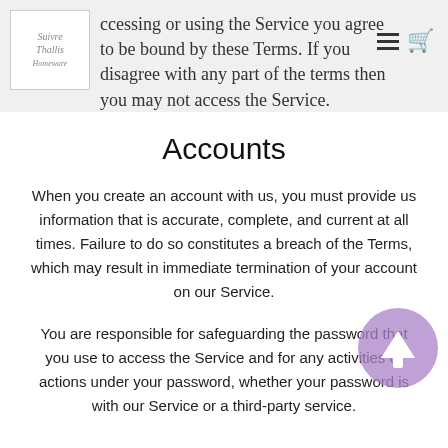ccessing or using the Service you agree to be bound by these Terms. If you disagree with any part of the terms then you may not access the Service.
Accounts
When you create an account with us, you must provide us information that is accurate, complete, and current at all times. Failure to do so constitutes a breach of the Terms, which may result in immediate termination of your account on our Service.
You are responsible for safeguarding the password that you use to access the Service and for any activities or actions under your password, whether your password is with our Service or a third-party service.